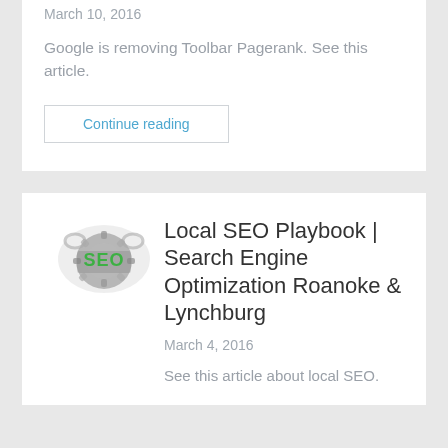March 10, 2016
Google is removing Toolbar Pagerank. See this article.
Continue reading
[Figure (photo): SEO gear/cog image with green SEO text logo]
Local SEO Playbook | Search Engine Optimization Roanoke & Lynchburg
March 4, 2016
See this article about local SEO.